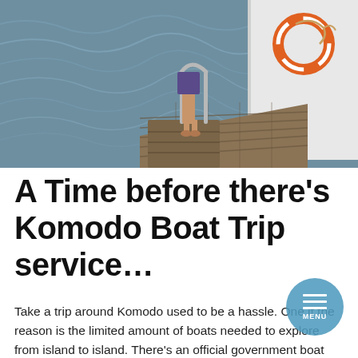[Figure (photo): Person standing on a boat dock/swim platform with metal railing over rippling blue-grey water. To the right is the white hull of a boat with a life preserver ring hanging on it. Wooden deck planks visible.]
A Time before there’s Komodo Boat Trip service…
Take a trip around Komodo used to be a hassle. One if the reason is the limited amount of boats needed to explore from island to island. There’s an official government boat from PELNI that popular among the